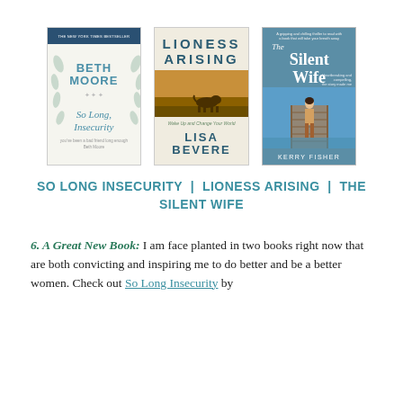[Figure (illustration): Three book covers displayed side by side: 'So Long, Insecurity' by Beth Moore (white cover with teal text and botanical border), 'Lioness Arising' by Lisa Bevere (beige cover with large title letters and a savanna scene with a lion), and 'The Silent Wife' by Kerry Fisher (blue cover with a woman standing on a pier).]
SO LONG INSECURITY | LIONESS ARISING | THE SILENT WIFE
6. A Great New Book: I am face planted in two books right now that are both convicting and inspiring me to do better and be a better women. Check out So Long Insecurity by